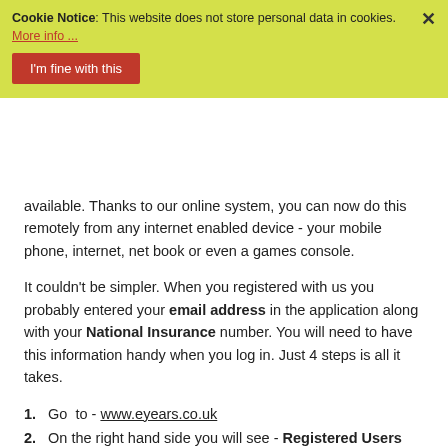Cookie Notice: This website does not store personal data in cookies. More info ...
I'm fine with this
available. Thanks to our online system, you can now do this remotely from any internet enabled device - your mobile phone, internet, net book or even a games console.
It couldn't be simpler. When you registered with us you probably entered your email address in the application along with your National Insurance number. You will need to have this information handy when you log in. Just 4 steps is all it takes.
1. Go to - www.eyears.co.uk
2. On the right hand side you will see - Registered Users Login - enter your email address as your user name and enter your National Insurance number as your password and press the Login button.
3. Once you're in the secure area you can change your